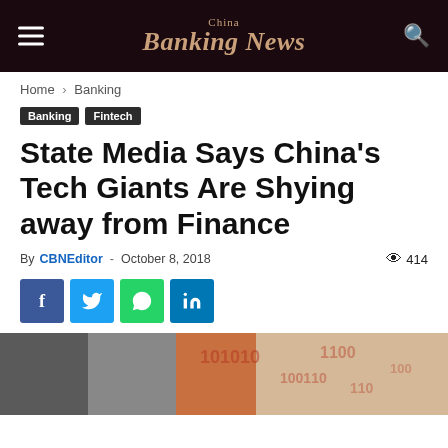China Banking News
Home › Banking
Banking
Fintech
State Media Says China's Tech Giants Are Shying away from Finance
By CBNEditor - October 8, 2018   414
[Figure (infographic): Social sharing buttons: Facebook, Twitter, WhatsApp, LinkedIn]
[Figure (photo): Photo showing two people in suits with digital binary/number background in red and orange tones]